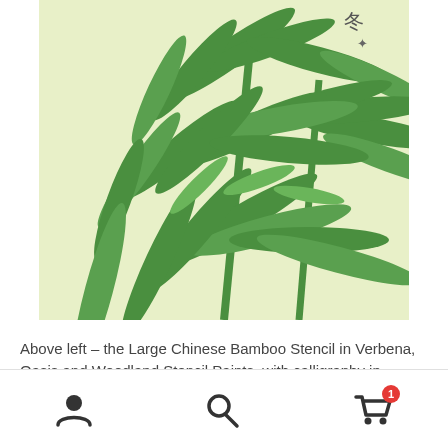[Figure (illustration): A decorative stencil illustration of large Chinese bamboo leaves and stems rendered in green on a pale yellow-green background, with small Chinese calligraphy characters in the upper right corner.]
Above left – the Large Chinese Bamboo Stencil in Verbena, Oasis and Woodland Stencil Paints, with calligraphy in Atlantic